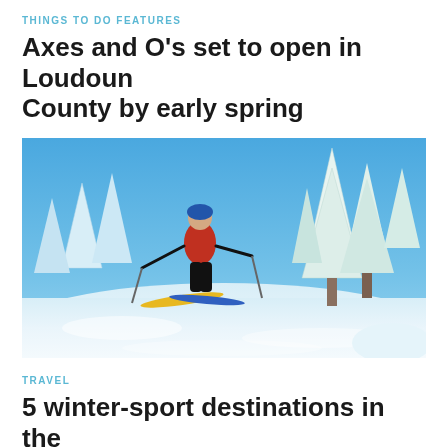THINGS TO DO FEATURES
Axes and O’s set to open in Loudoun County by early spring
[Figure (photo): A cross-country skier wearing a red jacket and blue hat skiing on a snow-covered trail with snow-laden evergreen trees in the background under a bright blue sky.]
TRAVEL
5 winter-sport destinations in the